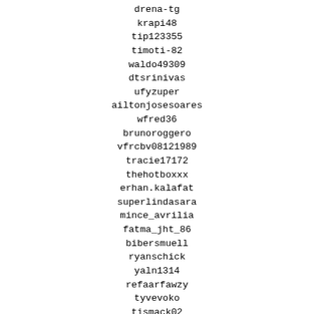drena-tg
krapi48
tip123355
timoti-82
waldo49309
dtsrinivas
ufyzuper
ailtonjosesoares
wfred36
brunoroggero
vfrcbv08121989
tracie17172
thehotboxxx
erhan.kalafat
superlindasara
mince_avrilia
fatma_jht_86
bibersmuell
ryanschick
yaln1314
refaarfawzy
tyvevoko
tismack02
vlasenko_karina2015
wpdlqldp
zebadiah70895
xisgsqheejhwn
westlife_ever_f
frodnoklassniki
turnerbullard